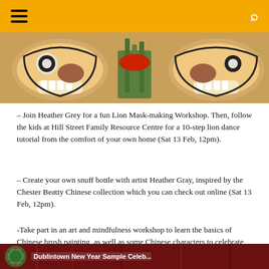Navigation header with hamburger menu and search icon
[Figure (photo): Photo of decorative lion masks/puppets made of paper or cardboard in orange, brown, black and white colors with floral elements in the center]
– Join Heather Grey for a fun Lion Mask-making Workshop. Then, follow the kids at Hill Street Family Resource Centre for a 10-step lion dance tutorial from the comfort of your own home (Sat 13 Feb, 12pm).
– Create your own snuff bottle with artist Heather Gray, inspired by the Chester Beatty Chinese collection which you can check out online (Sat 13 Feb, 12pm).
-Take part in an art and mindfulness workshop to learn the basics of Chinese brush painting, as well as some Chinese characters to celebrate the Year of the Ox (Sat 13 Feb, 3pm).
[Figure (photo): Bottom strip of a dark red image with a circular logo on the left and white/light text]